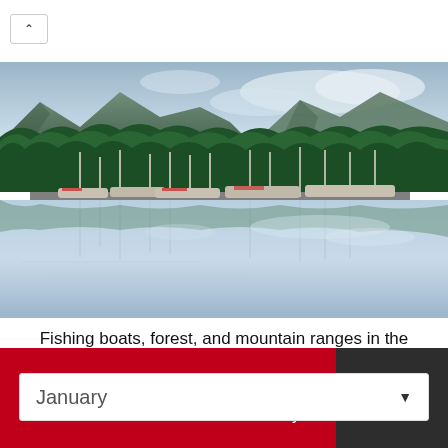[Figure (photo): Fishing boats docked at a marina with tall evergreen forest and mountain ranges reflected in calm water. Coffman Cove, Alaska.]
Fishing boats, forest, and mountain ranges in the Coffman Cove, Alaska
January ▼
Today
Tomorrow
10 days
Climate